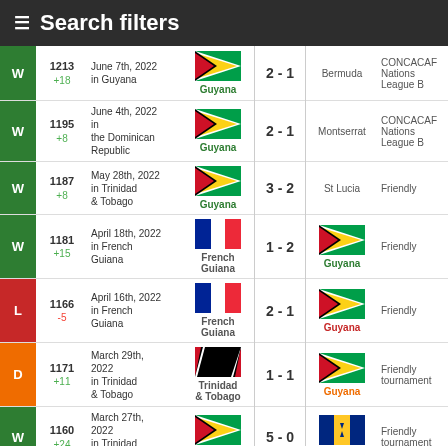☰ Search filters
| Result | Rank | Date/Venue | Home Team | Score | Away Team | Competition |
| --- | --- | --- | --- | --- | --- | --- |
| W | 1213 +18 | June 7th, 2022 in Guyana | Guyana | 2 - 1 | Bermuda | CONCACAF Nations League B |
| W | 1195 +8 | June 4th, 2022 in the Dominican Republic | Guyana | 2 - 1 | Montserrat | CONCACAF Nations League B |
| W | 1187 +8 | May 28th, 2022 in Trinidad & Tobago | Guyana | 3 - 2 | St Lucia | Friendly |
| W | 1181 +15 | April 18th, 2022 in French Guiana | French Guiana | 1 - 2 | Guyana | Friendly |
| L | 1166 -5 | April 16th, 2022 in French Guiana | French Guiana | 2 - 1 | Guyana | Friendly |
| D | 1171 +11 | March 29th, 2022 in Trinidad & Tobago | Trinidad & Tobago | 1 - 1 | Guyana | Friendly tournament |
| W | 1160 +24 | March 27th, 2022 in Trinidad & Tobago | Guyana | 5 - 0 | Barbados | Friendly tournament |
| L | 1136 -5 | February 1st, 2022 in Suriname | Suriname | 2 - 1 | Guyana | Friendly tournament |